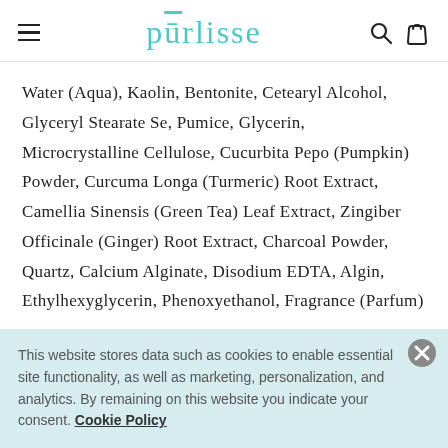purlisse
Water (Aqua), Kaolin, Bentonite, Cetearyl Alcohol, Glyceryl Stearate Se, Pumice, Glycerin, Microcrystalline Cellulose, Cucurbita Pepo (Pumpkin) Powder, Curcuma Longa (Turmeric) Root Extract, Camellia Sinensis (Green Tea) Leaf Extract, Zingiber Officinale (Ginger) Root Extract, Charcoal Powder, Quartz, Calcium Alginate, Disodium EDTA, Algin, Ethylhexyglycerin, Phenoxyethanol, Fragrance (Parfum)
This website stores data such as cookies to enable essential site functionality, as well as marketing, personalization, and analytics. By remaining on this website you indicate your consent. Cookie Policy